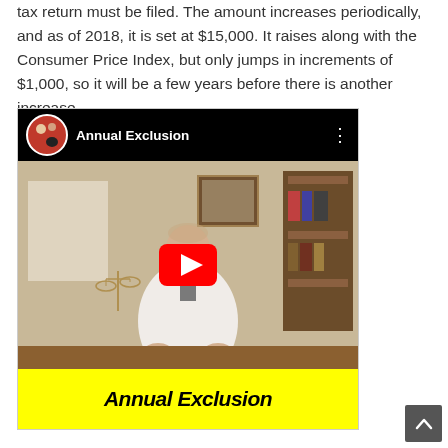tax return must be filed. The amount increases periodically, and as of 2018, it is set at $15,000. It raises along with the Consumer Price Index, but only jumps in increments of $1,000, so it will be a few years before there is another increase.
[Figure (screenshot): Embedded YouTube video thumbnail showing a man at a desk in an office. The video is titled 'Annual Exclusion' with a channel icon showing two people. A red YouTube play button is overlaid in the center. The bottom of the video has a yellow bar with 'Annual Exclusion' in bold italic black text.]